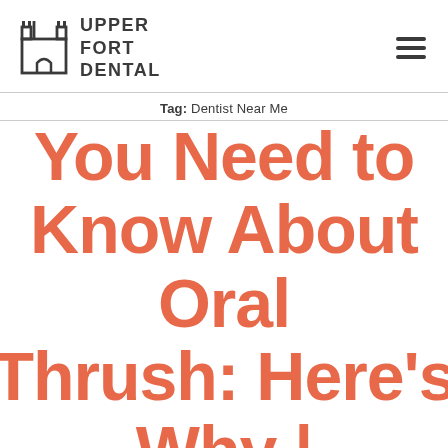UPPER FORT DENTAL
Tag: Dentist Near Me
You Need to Know About Oral Thrush: Here's Why | Downtown